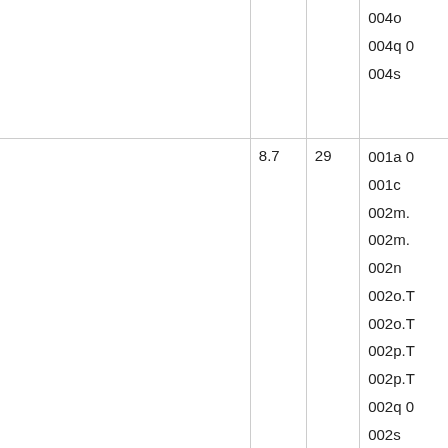| (col1) | (col2) | (col3) | (col4) |
| --- | --- | --- | --- |
|  |  |  | 004o ...
004q 0...
004s |
|  | 8.7 | 29 | 001a 0...
001c ...
002m....
002m....
002n
002o.T...
002o.T...
002p.T...
002p.T...
002q 0...
002s
002t.T...
002t.T...
002u 0...
002w ...
002y 0... |